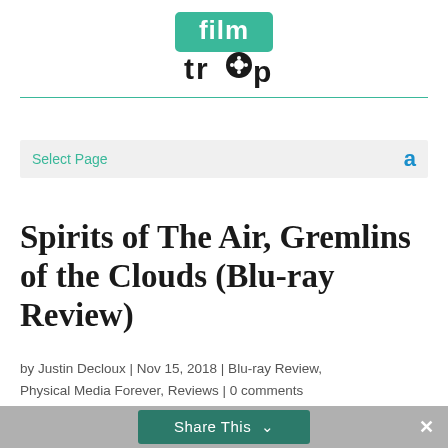[Figure (logo): FilmTrap logo: green outlined box with 'film' text in white on green, below 'trap' in black with film reel icon replacing the 'o']
Select Page
Spirits of The Air, Gremlins of the Clouds (Blu-ray Review)
by Justin Decloux | Nov 15, 2018 | Blu-ray Review, Physical Media Forever, Reviews | 0 comments
Share This